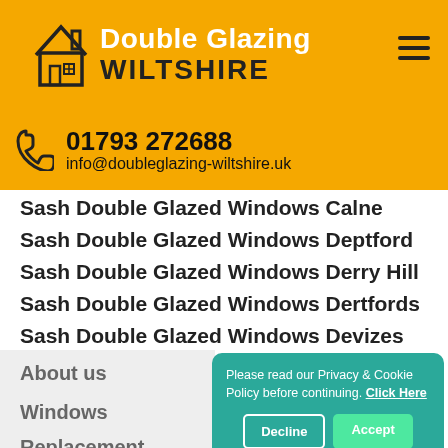Double Glazing WILTSHIRE
01793 272688
info@doubleglazing-wiltshire.uk
Sash Double Glazed Windows Calne
Sash Double Glazed Windows Deptford
Sash Double Glazed Windows Derry Hill
Sash Double Glazed Windows Dertfords
Sash Double Glazed Windows Devizes
About us
Windows
Replacement
Cost Price
Please read our Privacy & Cookie Policy before continuing. Click Here
Decline
Accept